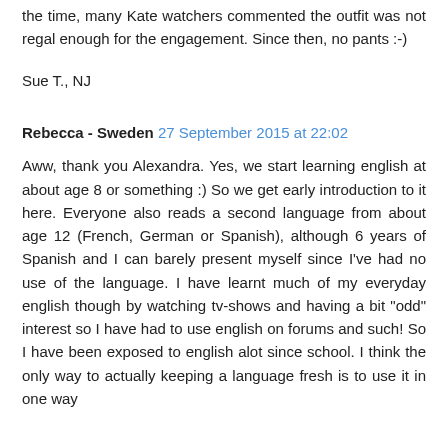the time, many Kate watchers commented the outfit was not regal enough for the engagement. Since then, no pants :-)
Sue T., NJ
Rebecca - Sweden 27 September 2015 at 22:02
Aww, thank you Alexandra. Yes, we start learning english at about age 8 or something :) So we get early introduction to it here. Everyone also reads a second language from about age 12 (French, German or Spanish), although 6 years of Spanish and I can barely present myself since I've had no use of the language. I have learnt much of my everyday english though by watching tv-shows and having a bit "odd" interest so I have had to use english on forums and such! So I have been exposed to english alot since school. I think the only way to actually keeping a language fresh is to use it in one way